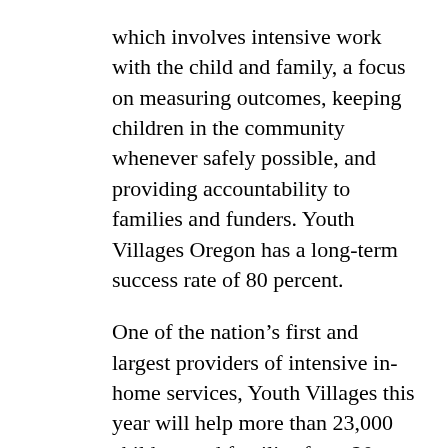which involves intensive work with the child and family, a focus on measuring outcomes, keeping children in the community whenever safely possible, and providing accountability to families and funders. Youth Villages Oregon has a long-term success rate of 80 percent.
One of the nation’s first and largest providers of intensive in-home services, Youth Villages this year will help more than 23,000 children and families from 20 states and Washington, D.C. The organization has been recognized by Harvard Business School and U.S. News & World Report, and was identified by The White House as one of the nation’s most promising results-oriented nonprofit organizations. For more